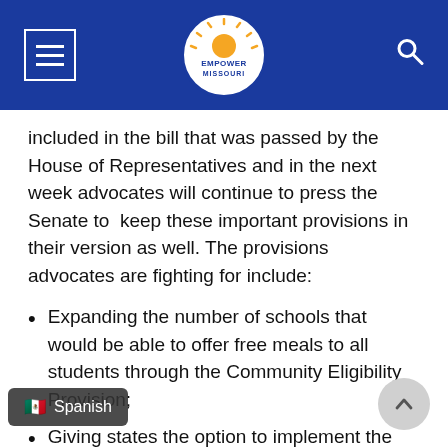Empower Missouri navigation header
included in the bill that was passed by the House of Representatives and in the next week advocates will continue to press the Senate to keep these important provisions in their version as well. The provisions advocates are fighting for include:
Expanding the number of schools that would be able to offer free meals to all students through the Community Eligibility Provision;
Giving states the option to implement the Community Eligibility Provision statewide
30 million for school kitchen